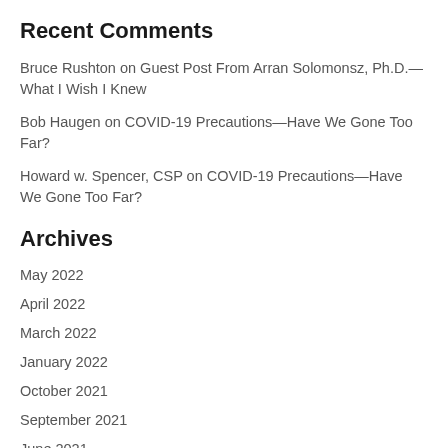Recent Comments
Bruce Rushton on Guest Post From Arran Solomonsz, Ph.D.—What I Wish I Knew
Bob Haugen on COVID-19 Precautions—Have We Gone Too Far?
Howard w. Spencer, CSP on COVID-19 Precautions—Have We Gone Too Far?
Archives
May 2022
April 2022
March 2022
January 2022
October 2021
September 2021
June 2021